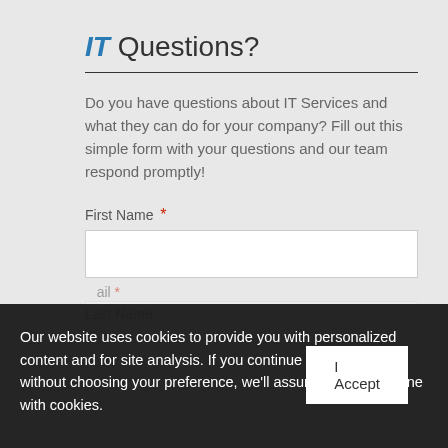IT Questions?
Do you have questions about IT Services and what they can do for your company? Fill out this simple form with your questions and our team respond promptly!
First Name *
Last Name
Email *
Our website uses cookies to provide you with personalized content and for site analysis. If you continue to use the site without choosing your preference, we'll assume that you're fine with cookies.
I Accept